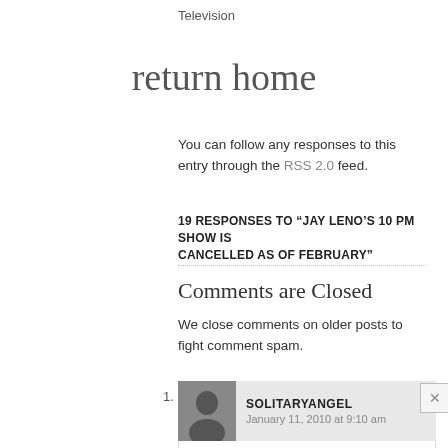Television
return home
You can follow any responses to this entry through the RSS 2.0 feed.
19 RESPONSES TO “JAY LENO’S 10 PM SHOW IS CANCELLED AS OF FEBRUARY”
Comments are Closed
We close comments on older posts to fight comment spam.
1. SOLITARYANGEL January 11, 2010 at 9:10 am — I never thought any of those 3 were funny–EVER.